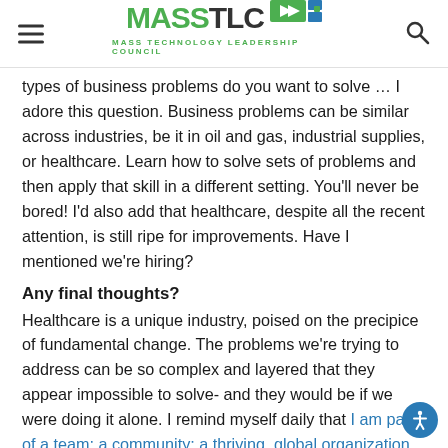MASSTLC — MASS TECHNOLOGY LEADERSHIP COUNCIL
types of business problems do you want to solve … I adore this question. Business problems can be similar across industries, be it in oil and gas, industrial supplies, or healthcare. Learn how to solve sets of problems and then apply that skill in a different setting. You'll never be bored! I'd also add that healthcare, despite all the recent attention, is still ripe for improvements. Have I mentioned we're hiring?
Any final thoughts?
Healthcare is a unique industry, poised on the precipice of fundamental change. The problems we're trying to address can be so complex and layered that they appear impossible to solve- and they would be if we were doing it alone. I remind myself daily that I am part of a team; a community; a thriving, global organization loaded with